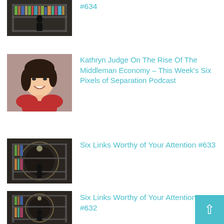#634
Kathryn Judge On The Rise Of The Middleman Economy – This Week's Six Pixels of Separation Podcast
Six Links Worthy of Your Attention #633
Seth Stephens-Davidowitz On Trusting Data (And Not Your Gut) – This Week's Six Pixels of Separation Podcast
Six Links Worthy of Your Attention #632